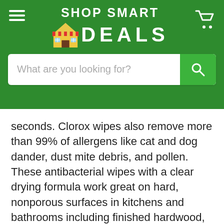SHOP SMART DEALS
seconds. Clorox wipes also remove more than 99% of allergens like cat and dog dander, dust mite debris, and pollen. These antibacterial wipes with a clear drying formula work great on hard, nonporous surfaces in kitchens and bathrooms including finished hardwood, stainless steel, and more. Ideal for use in offices, schools, daycare centers, restaurants, hotels and other commercial facilities. Clean and disinfect with the convenience of easy pull Clorox Disinfecting Wipes.